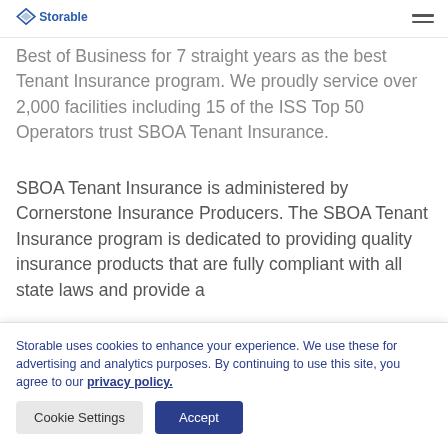Storable [logo and navigation]
Best of Business for 7 straight years as the best Tenant Insurance program. We proudly service over 2,000 facilities including 15 of the ISS Top 50 Operators trust SBOA Tenant Insurance.
SBOA Tenant Insurance is administered by Cornerstone Insurance Producers. The SBOA Tenant Insurance program is dedicated to providing quality insurance products that are fully compliant with all state laws and provide a
Storable uses cookies to enhance your experience. We use these for advertising and analytics purposes. By continuing to use this site, you agree to our privacy policy.